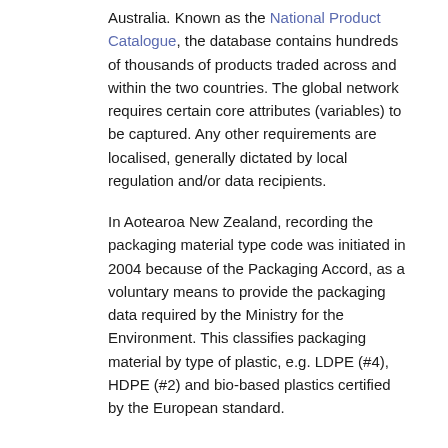Australia. Known as the National Product Catalogue, the database contains hundreds of thousands of products traded across and within the two countries. The global network requires certain core attributes (variables) to be captured. Any other requirements are localised, generally dictated by local regulation and/or data recipients.
In Aotearoa New Zealand, recording the packaging material type code was initiated in 2004 because of the Packaging Accord, as a voluntary means to provide the packaging data required by the Ministry for the Environment. This classifies packaging material by type of plastic, e.g. LDPE (#4), HDPE (#2) and bio-based plastics certified by the European standard.